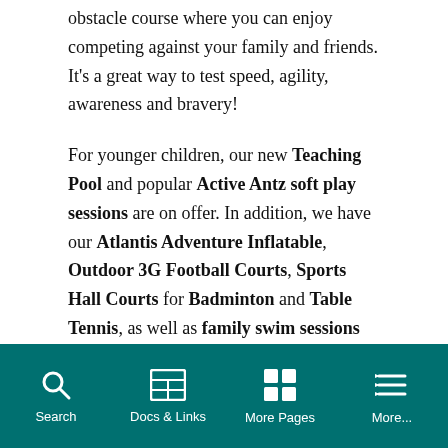obstacle course where you can enjoy competing against your family and friends. It's a great way to test speed, agility, awareness and bravery!
For younger children, our new Teaching Pool and popular Active Antz soft play sessions are on offer. In addition, we have our Atlantis Adventure Inflatable, Outdoor 3G Football Courts, Sports Hall Courts for Badminton and Table Tennis, as well as family swim sessions running all week.
Plus, this half term if you book a session at our Clip 'n Climb, in return you'll receive a free family swim!
Search  Docs & Links  More Pages  More...